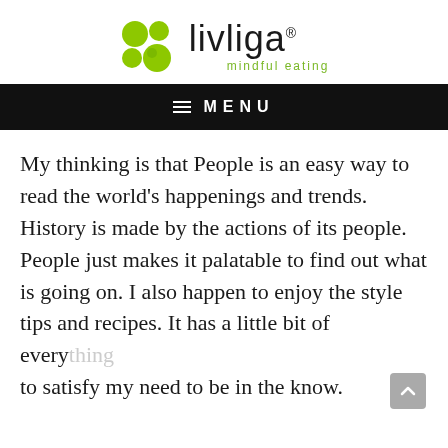[Figure (logo): Livliga logo with green circle bubbles graphic and text 'livliga' with registered trademark symbol and tagline 'mindful eating' in green]
≡ MENU
My thinking is that People is an easy way to read the world's happenings and trends. History is made by the actions of its people. People just makes it palatable to find out what is going on. I also happen to enjoy the style tips and recipes. It has a little bit of everything to satisfy my need to be in the know.